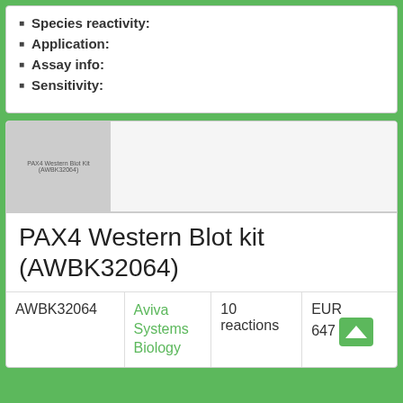Species reactivity:
Application:
Assay info:
Sensitivity:
[Figure (photo): Product image placeholder for PAX4 Western Blot kit (AWBK32064)]
PAX4 Western Blot kit (AWBK32064)
|  |  |  |  |
| --- | --- | --- | --- |
| AWBK32064 | Aviva Systems Biology | 10 reactions | EUR 647 |